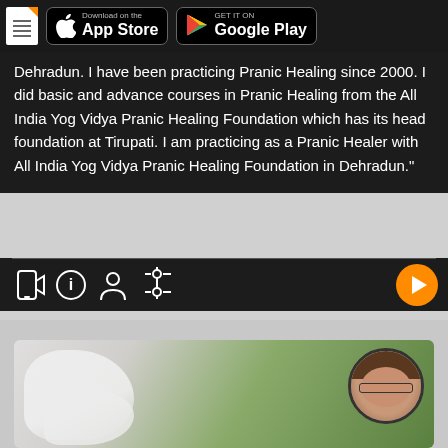[Figure (screenshot): App store download buttons - Apple App Store and Google Play Store on dark header bar with document icon]
Dehradun. I have been practicing Pranic Healing since 2000. I did basic and advance courses in Pranic Healing from the All India Yog Vidya Pranic Healing Foundation which has its head foundation at Tirupati. I am practicing as a Pranic Healer with All India Yog Vidya Pranic Healing Foundation in Dehradun."
[Figure (screenshot): Media player icon bar with phone/video icon, info icon, person icon, settings icon, and orange play button]
[Figure (photo): Yoga meditation photo with a person in white sitting cross-legged outdoors with green bokeh background, and a circular portrait photo of a woman with glasses in the top right corner]